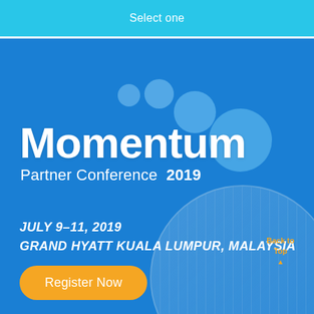Select one
Momentum
Partner Conference 2019
JULY 9-11, 2019
GRAND HYATT KUALA LUMPUR, MALAYSIA
Back to Top
Register Now